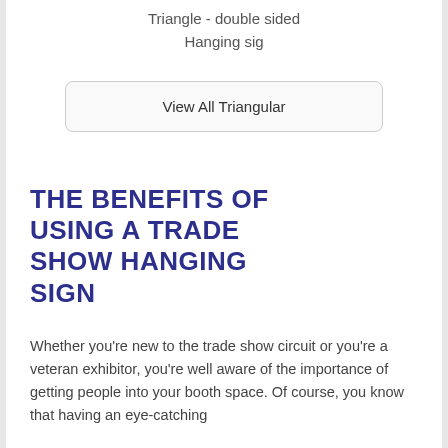Triangle - double sided
Hanging sig
View All Triangular
THE BENEFITS OF USING A TRADE SHOW HANGING SIGN
Whether you’re new to the trade show circuit or you're a veteran exhibitor, you’re well aware of the importance of getting people into your booth space. Of course, you know that having an eye-catching